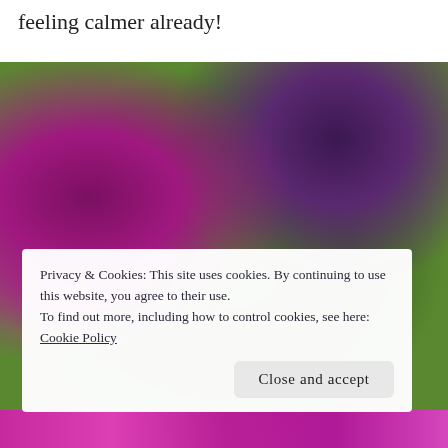feeling calmer already!
[Figure (photo): Close-up photo of deep magenta/purple petunia flowers with green leafy stems against a blurred background. A cookie consent banner overlays the lower portion of the image.]
Privacy & Cookies: This site uses cookies. By continuing to use this website, you agree to their use.
To find out more, including how to control cookies, see here:
Cookie Policy
Close and accept